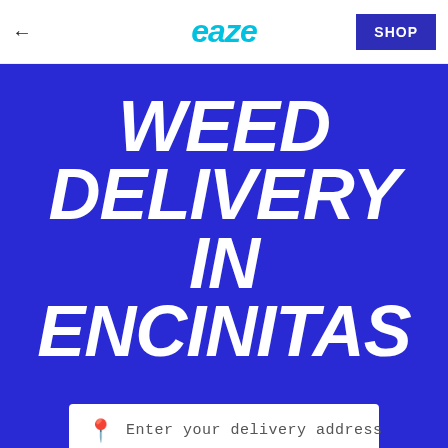← eaze SHOP
WEED DELIVERY IN ENCINITAS
Enter your delivery address
SHOP NOW